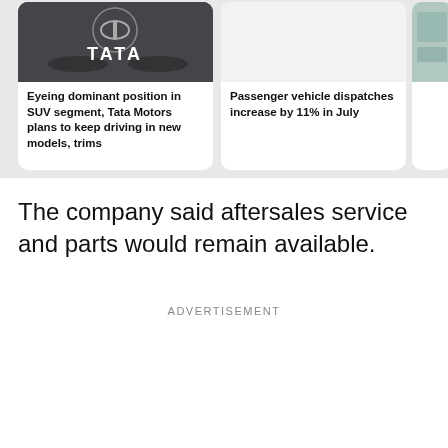[Figure (photo): Tata Motors logo/sign on a vehicle, dark background]
Eyeing dominant position in SUV segment, Tata Motors plans to keep driving in new models, trims
[Figure (photo): Light gray placeholder image area]
Passenger vehicle dispatches increase by 11% in July
[Figure (photo): Partial image, teal/green colored pattern, cropped on right]
The company said aftersales service and parts would remain available.
ADVERTISEMENT